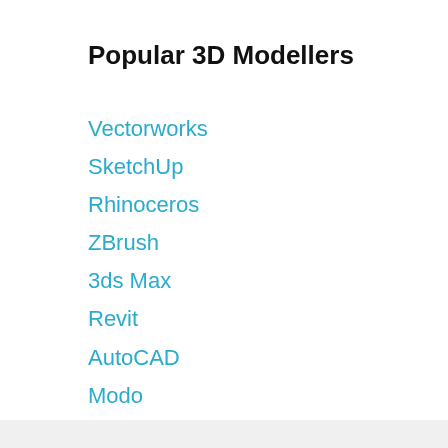Popular 3D Modellers
Vectorworks
SketchUp
Rhinoceros
ZBrush
3ds Max
Revit
AutoCAD
Modo
formZ